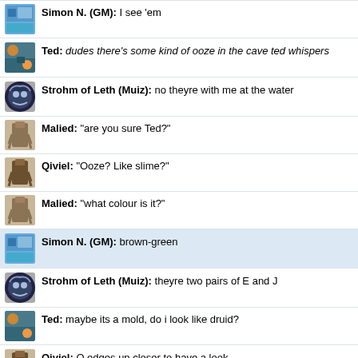Simon N. (GM): I see 'em
Ted: dudes there's some kind of ooze in the cave ted whispers
Strohm of Leth (Muiz): no theyre with me at the water
Malied: "are you sure Ted?"
Qiviel: "Ooze? Like slime?"
Malied: "what colour is it?"
Simon N. (GM): brown-green
Strohm of Leth (Muiz): theyre two pairs of E and J
Ted: maybe its a mold, do i look like druid?
Qiviel: Q edges up closer to have a look.
Erasmus: Strange.
Ted: i wouldnt touch it
Malied: hmm I have an idea